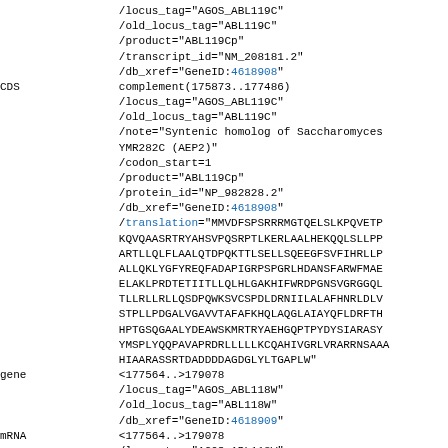Genomic feature annotation data including CDS, gene, and mRNA entries for AGOS_ABL119C and AGOS_ABL118W loci with qualifier fields such as locus_tag, old_locus_tag, product, transcript_id, db_xref, note, codon_start, protein_id, and translation.